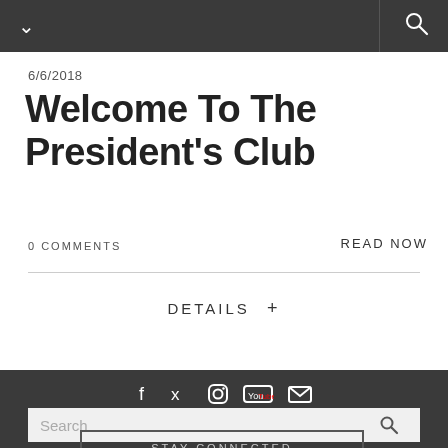6/6/2018
Welcome To The President's Club
0 COMMENTS
READ NOW
DETAILS +
Social icons, Search bar, STAY CONNECTED